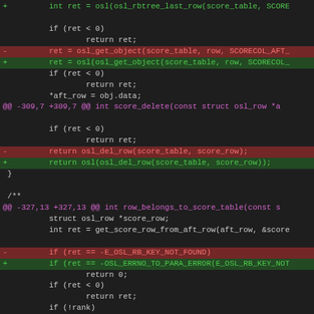[Figure (screenshot): Code diff view showing changes to C source code with green additions, red deletions, and magenta diff hunk headers on a dark background.]